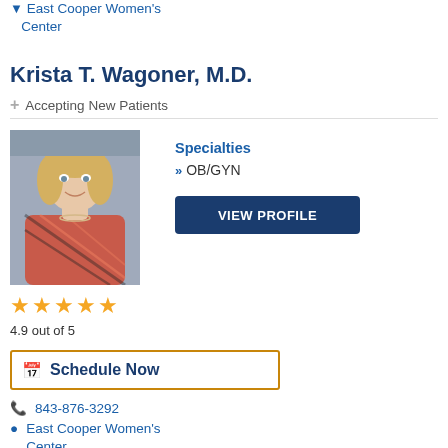East Cooper Women's Center
Krista T. Wagoner, M.D.
+ Accepting New Patients
[Figure (photo): Professional headshot of Dr. Krista T. Wagoner, a blonde woman smiling, wearing a patterned sleeveless top with a necklace]
Specialties
» OB/GYN
VIEW PROFILE
4.9 out of 5
Schedule Now
843-876-3292
East Cooper Women's Center